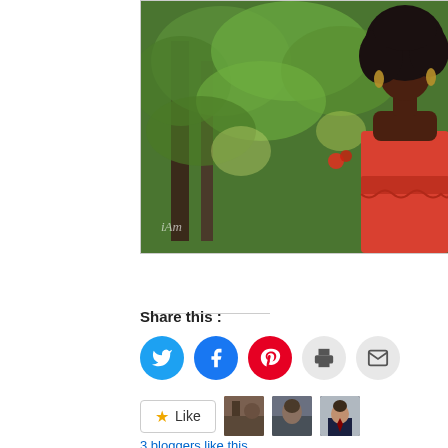[Figure (photo): A woman with natural afro hair wearing a red off-shoulder top, standing outdoors in front of lush green trees and foliage. A watermark reading 'iAm' is visible in the lower left of the photo.]
Share this :
[Figure (infographic): Social sharing buttons: Twitter (blue), Facebook (blue), Pinterest (red), Print (grey), Email (grey)]
[Figure (infographic): Like button with star icon and three blogger avatar thumbnails]
3 bloggers like this